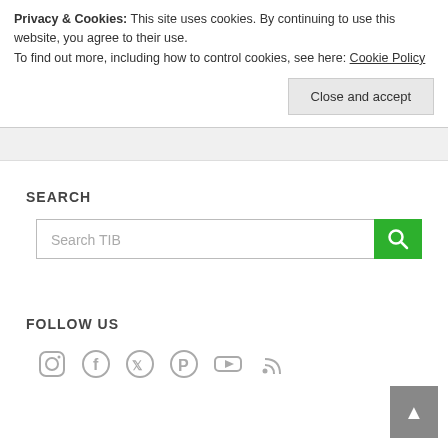Privacy & Cookies: This site uses cookies. By continuing to use this website, you agree to their use.
To find out more, including how to control cookies, see here: Cookie Policy
Close and accept
SEARCH
[Figure (screenshot): Search input box with placeholder text 'Search TIB' and a green search button with magnifying glass icon]
FOLLOW US
[Figure (infographic): Social media icons: Instagram, Facebook, Twitter, Pinterest, YouTube, RSS feed]